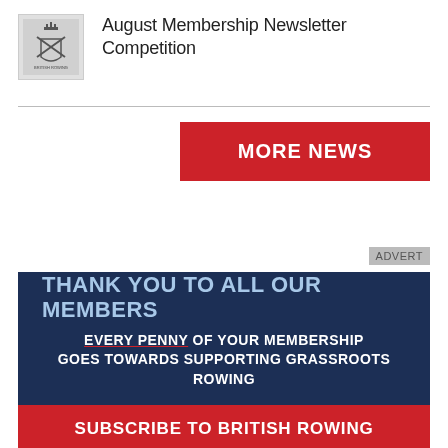[Figure (logo): British Rowing logo in a grey box]
August Membership Newsletter Competition
MORE NEWS
ADVERT
[Figure (infographic): Dark navy blue advertisement banner reading: THANK YOU TO ALL OUR MEMBERS / EVERY PENNY OF YOUR MEMBERSHIP GOES TOWARDS SUPPORTING GRASSROOTS ROWING / SUBSCRIBE TO BRITISH ROWING (red bar at bottom)]